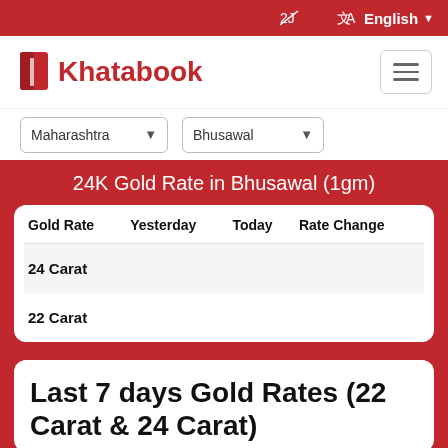English
[Figure (logo): Khatabook logo with red book icon and red text]
Maharashtra  Bhusawal
24K Gold Rate in Bhusawal (1gm)
| Gold Rate | Yesterday | Today | Rate Change |
| --- | --- | --- | --- |
| 24 Carat |  |  |  |
| 22 Carat |  |  |  |
Last 7 days Gold Rates (22 Carat & 24 Carat)